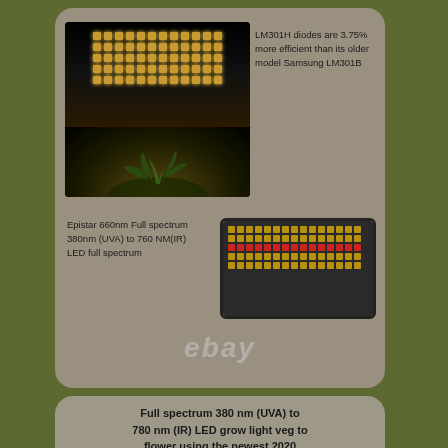[Figure (photo): LED grow light panel illuminating small plants from above, showing warm yellow LED bars arranged in rows, with green plant leaves visible below lit by the warm glow]
LM301H diodes are 3.75% more efficient than its older model Samsung LM301B
Epistar 660nm Full spectrum 380nm (UVA) to 760 NM(IR) LED full spectrum
[Figure (photo): Close-up photo of an LED grow light panel showing a grid of warm white and red diodes arranged in rows on a dark rectangular panel with black border]
[Figure (logo): eBay logo in light gray italic text]
Full spectrum 380 nm (UVA) to 780 nm (IR) LED grow light veg to flower using the newest 2020